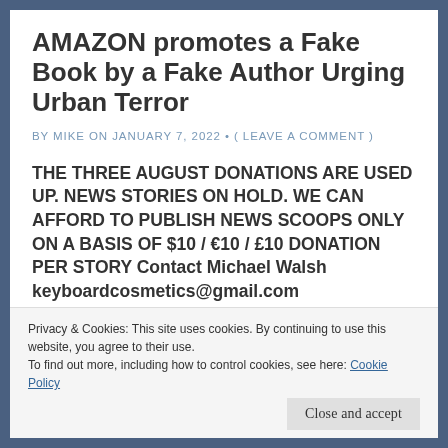AMAZON promotes a Fake Book by a Fake Author Urging Urban Terror
BY MIKE ON JANUARY 7, 2022 • ( LEAVE A COMMENT )
THE THREE AUGUST DONATIONS ARE USED UP. NEWS STORIES ON HOLD. WE CAN AFFORD TO PUBLISH NEWS SCOOPS ONLY ON A BASIS OF $10 / €10 / £10 DONATION PER STORY Contact Michael Walsh keyboardcosmetics@gmail.com
A fire-starting book falsely claiming authorship by
Privacy & Cookies: This site uses cookies. By continuing to use this website, you agree to their use.
To find out more, including how to control cookies, see here: Cookie Policy
Close and accept